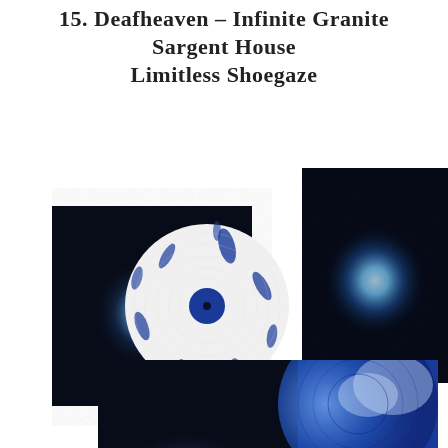15. Deafheaven – Infinite Granite
Sargent House
Limitless Shoegaze
[Figure (photo): Album cover showing dark background with glowing blue orb, partially overlaid with a white splatter vinyl record]
[Figure (photo): Large close-up of album artwork: dark/black background with a large glowing light blue orb center]
[Figure (photo): Bottom partial image showing dark album cover with blue vinyl record partially visible on the right]